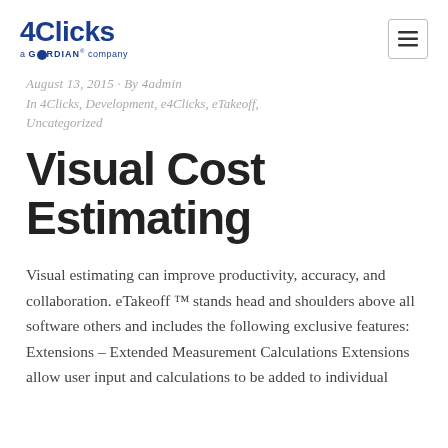4Clicks a GORDIAN company
August 13, 2015 · By 4admin
In 4Clicks, Development, e4Clicks, eTakeoff, Uncategorized
Visual Cost Estimating
Visual estimating can improve productivity, accuracy, and collaboration. eTakeoff ™ stands head and shoulders above all software others and includes the following exclusive features: Extensions – Extended Measurement Calculations Extensions allow user input and calculations to be added to individual